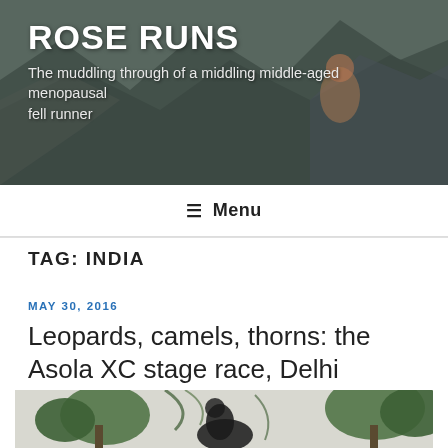ROSE RUNS
The muddling through of a middling middle-aged menopausal fell runner
≡ Menu
TAG: INDIA
MAY 30, 2016
Leopards, camels, thorns: the Asola XC stage race, Delhi
[Figure (photo): Outdoor photo showing a dark animal (possibly a camel or large mammal) among trees and vegetation against a pale sky]